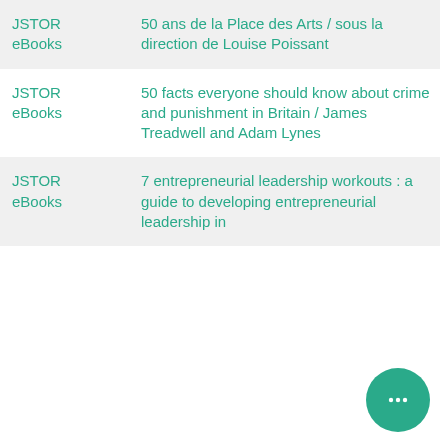| Source | Title |
| --- | --- |
| JSTOR eBooks | 50 ans de la Place des Arts / sous la direction de Louise Poissant |
| JSTOR eBooks | 50 facts everyone should know about crime and punishment in Britain / James Treadwell and Adam Lynes |
| JSTOR eBooks | 7 entrepreneurial leadership workouts : a guide to developing entrepreneurial leadership in |